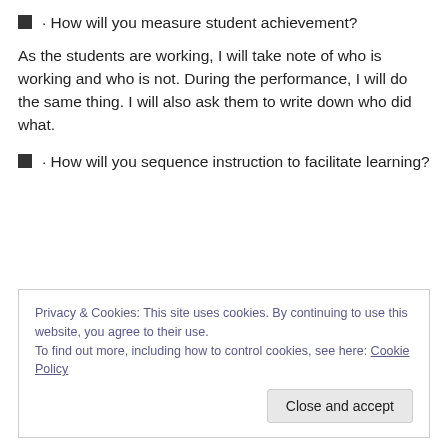· How will you measure student achievement?
As the students are working, I will take note of who is working and who is not.  During the performance, I will do the same thing.  I will also ask them to write down who did what.
· How will you sequence instruction to facilitate learning?
Privacy & Cookies: This site uses cookies. By continuing to use this website, you agree to their use. To find out more, including how to control cookies, see here: Cookie Policy